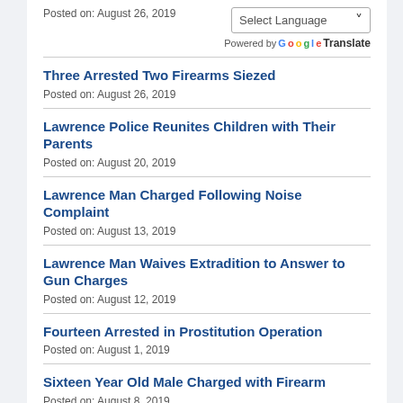Posted on: August 26, 2019
Three Arrested Two Firearms Siezed
Posted on: August 26, 2019
Lawrence Police Reunites Children with Their Parents
Posted on: August 20, 2019
Lawrence Man Charged Following Noise Complaint
Posted on: August 13, 2019
Lawrence Man Waives Extradition to Answer to Gun Charges
Posted on: August 12, 2019
Fourteen Arrested in Prostitution Operation
Posted on: August 1, 2019
Sixteen Year Old Male Charged with Firearm
Posted on: August 8, 2019